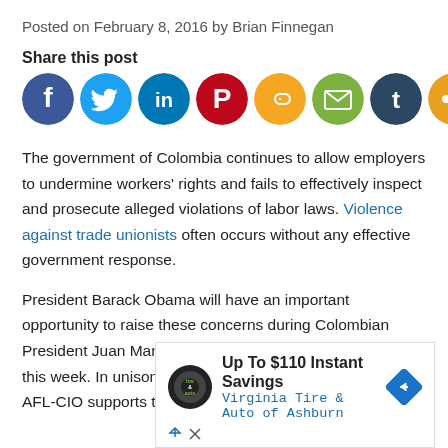Posted on February 8, 2016 by Brian Finnegan
Share this post
[Figure (infographic): Social sharing icons: Facebook, Twitter, LinkedIn, Pinterest, Copy Link, Email, Tumblr, Share]
The government of Colombia continues to allow employers to undermine workers' rights and fails to effectively inspect and prosecute alleged violations of labor laws. Violence against trade unionists often occurs without any effective government response.
President Barack Obama will have an important opportunity to raise these concerns during Colombian President Juan Manuel Santos' visit to Washington, D.C., this week. In unison with our partners in Colombia, the AFL-CIO supports the peace negotiations and again
[Figure (infographic): Advertisement: Up To $110 Instant Savings - Virginia Tire & Auto of Ashburn]